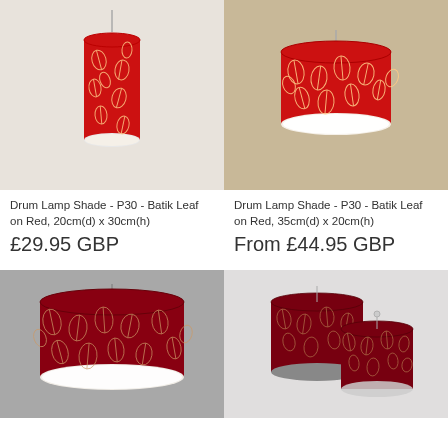[Figure (photo): Pendant drum lamp shade with red batik leaf pattern, cream wall background]
[Figure (photo): Wide flush drum lamp shade with red batik leaf pattern, wood ceiling background]
Drum Lamp Shade - P30 - Batik Leaf on Red, 20cm(d) x 30cm(h)
Drum Lamp Shade - P30 - Batik Leaf on Red, 35cm(d) x 20cm(h)
£29.95 GBP
From £44.95 GBP
[Figure (photo): Large wide drum lamp shade with dark red batik leaf pattern, gray background]
[Figure (photo): Two dark red batik leaf drum lamp shades, light background]